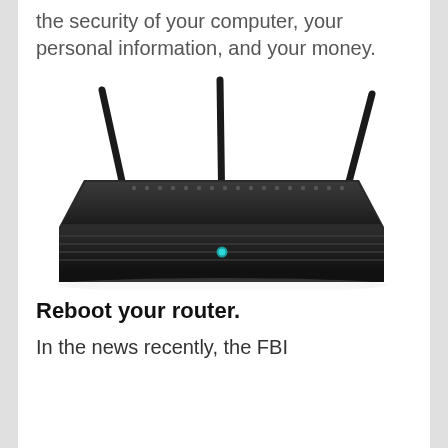the security of your computer, your personal information, and your money.
[Figure (illustration): A black wireless router with three antennas and a blue power LED indicator on the front panel, shown in a three-quarter perspective view.]
Reboot your router.
In the news recently, the FBI